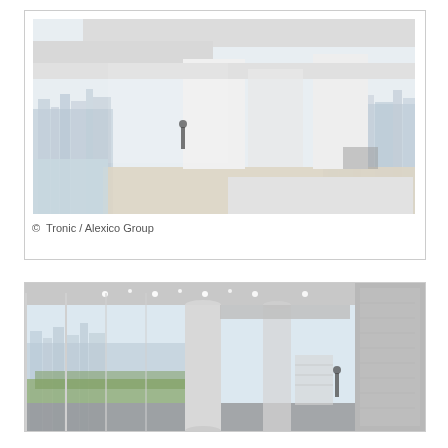[Figure (illustration): Architectural rendering of a modern open-plan penthouse or rooftop space with white concrete cantilevered ceiling slabs, floor-to-ceiling glass walls, panoramic city skyline views, a single figure standing in the space, and light wood flooring. The rendering appears to be a composite of two overlapping perspective views.]
© Tronic / Alexico Group
[Figure (illustration): Architectural interior rendering of a modern lobby or corridor with tall cylindrical white columns, floor-to-ceiling glass windows overlooking a city skyline with green landscaping, recessed ceiling lights, and a textured white patterned wall panel on the right side. A human figure is visible in the distance.]